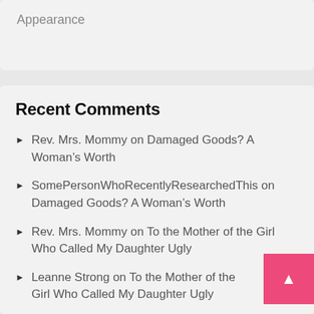Appearance
Recent Comments
Rev. Mrs. Mommy on Damaged Goods? A Woman's Worth
SomePersonWhoRecentlyResearchedThis on Damaged Goods? A Woman's Worth
Rev. Mrs. Mommy on To the Mother of the Girl Who Called My Daughter Ugly
Leanne Strong on To the Mother of the Girl Who Called My Daughter Ugly
Pastor G. N... on ...